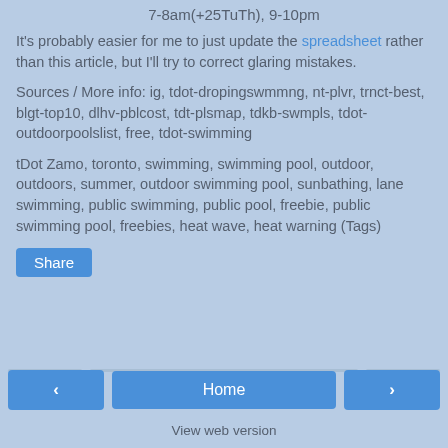7-8am(+25TuTh), 9-10pm
It's probably easier for me to just update the spreadsheet rather than this article, but I'll try to correct glaring mistakes.
Sources / More info: ig, tdot-dropingswmmng, nt-plvr, trnct-best, blgt-top10, dlhv-pblcost, tdt-plsmap, tdkb-swmpls, tdot-outdoorpoolslist, free, tdot-swimming
tDot Zamo, toronto, swimming, swimming pool, outdoor, outdoors, summer, outdoor swimming pool, sunbathing, lane swimming, public swimming, public pool, freebie, public swimming pool, freebies, heat wave, heat warning (Tags)